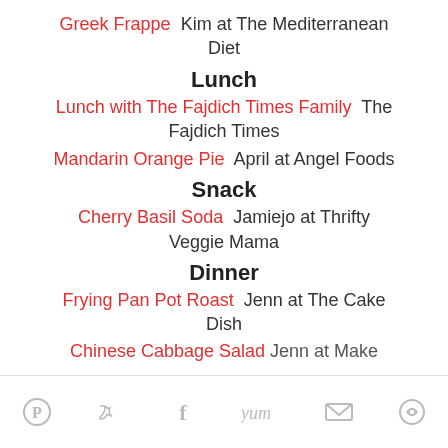Greek Frappe  Kim at The Mediterranean Diet
Lunch
Lunch with The Fajdich Times Family  The Fajdich Times
Mandarin Orange Pie  April at Angel Foods
Snack
Cherry Basil Soda  Jamiejo at Thrifty Veggie Mama
Dinner
Frying Pan Pot Roast  Jenn at The Cake Dish
Chinese Cabbage Salad  Jenn at Make...
Social share icons: Pinterest, Twitter, Facebook, Yum, Email, Other